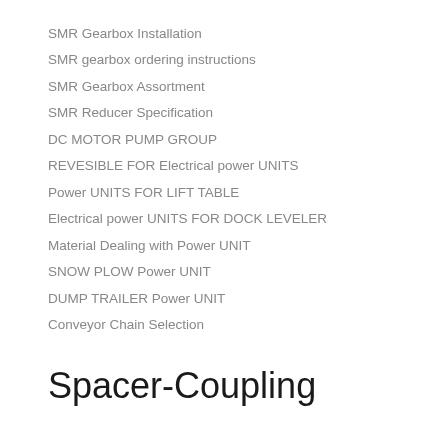SMR Gearbox Installation
SMR gearbox ordering instructions
SMR Gearbox Assortment
SMR Reducer Specification
DC MOTOR PUMP GROUP
REVESIBLE FOR Electrical power UNITS
Power UNITS FOR LIFT TABLE
Electrical power UNITS FOR DOCK LEVELER
Material Dealing with Power UNIT
SNOW PLOW Power UNIT
DUMP TRAILER Power UNIT
Conveyor Chain Selection
Spacer-Coupling